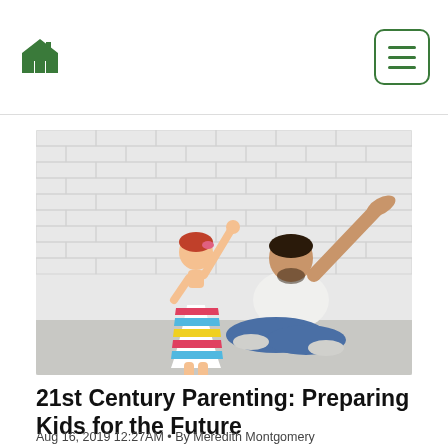[Figure (photo): A man sitting cross-legged on a gray floor against a white brick wall, reaching up with one arm. A toddler girl in a colorful striped dress stands beside him, reaching up to touch his raised hand.]
21st Century Parenting: Preparing Kids for the Future
Aug 16, 2019 12:27AM • By Meredith Montgomery